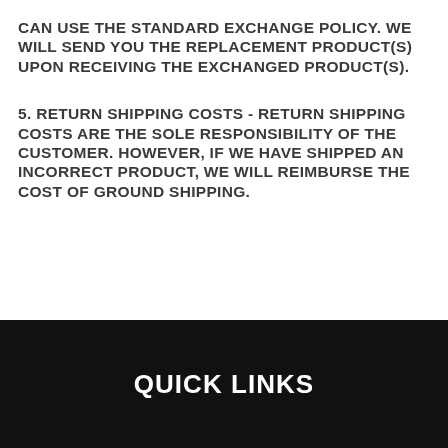CAN USE THE STANDARD EXCHANGE POLICY. WE WILL SEND YOU THE REPLACEMENT PRODUCT(S) UPON RECEIVING THE EXCHANGED PRODUCT(S).
5. RETURN SHIPPING COSTS - RETURN SHIPPING COSTS ARE THE SOLE RESPONSIBILITY OF THE CUSTOMER. HOWEVER, IF WE HAVE SHIPPED AN INCORRECT PRODUCT, WE WILL REIMBURSE THE COST OF GROUND SHIPPING.
QUICK LINKS